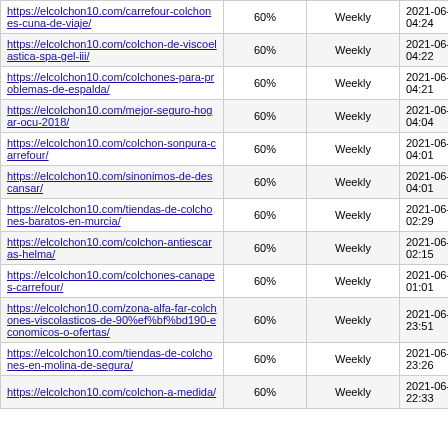| https://elcolchon10.com/carrefour-colchones-cuna-de-viaje/ | 60% | Weekly | 2021-06-25 04:24 |
| https://elcolchon10.com/colchon-de-viscoelastica-spa-gel-iii/ | 60% | Weekly | 2021-06-25 04:22 |
| https://elcolchon10.com/colchones-para-problemas-de-espalda/ | 60% | Weekly | 2021-06-25 04:21 |
| https://elcolchon10.com/mejor-seguro-hogar-ocu-2018/ | 60% | Weekly | 2021-06-25 04:04 |
| https://elcolchon10.com/colchon-sonpura-carrefour/ | 60% | Weekly | 2021-06-25 04:01 |
| https://elcolchon10.com/sinonimos-de-descansar/ | 60% | Weekly | 2021-06-25 04:01 |
| https://elcolchon10.com/tiendas-de-colchones-baratos-en-murcia/ | 60% | Weekly | 2021-06-25 02:29 |
| https://elcolchon10.com/colchon-antiescaras-helma/ | 60% | Weekly | 2021-06-25 02:15 |
| https://elcolchon10.com/colchones-canapes-carrefour/ | 60% | Weekly | 2021-06-25 01:01 |
| https://elcolchon10.com/zona-alfa-far-colchones-viscolasticos-de-90%ef%bf%bd190-economicos-o-ofertas/ | 60% | Weekly | 2021-06-24 23:51 |
| https://elcolchon10.com/tiendas-de-colchones-en-molina-de-segura/ | 60% | Weekly | 2021-06-24 23:26 |
| https://elcolchon10.com/colchon-a-medida/ | 60% | Weekly | 2021-06-24 22:33 |